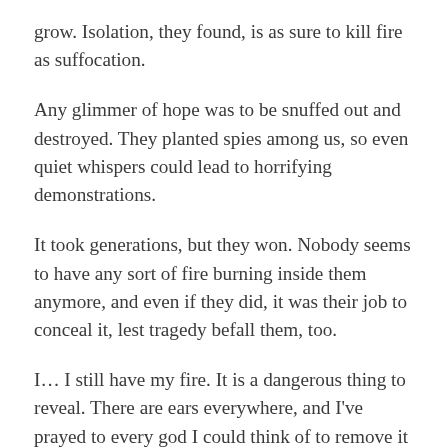grow. Isolation, they found, is as sure to kill fire as suffocation.
Any glimmer of hope was to be snuffed out and destroyed. They planted spies among us, so even quiet whispers could lead to horrifying demonstrations.
It took generations, but they won. Nobody seems to have any sort of fire burning inside them anymore, and even if they did, it was their job to conceal it, lest tragedy befall them, too.
I… I still have my fire. It is a dangerous thing to reveal. There are ears everywhere, and I've prayed to every god I could think of to remove it from me. There was a time in which it was the only thing that kept me going, but now, I don't want it anymore. There is a satisfaction in acceptance… one I have never tasted.